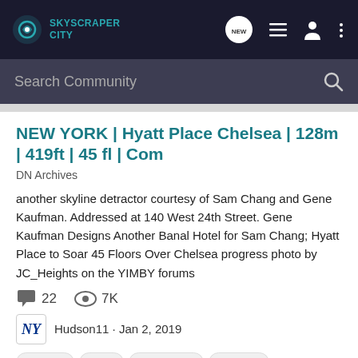SkyscraperCity
NEW YORK | Hyatt Place Chelsea | 128m | 419ft | 45 fl | Com
DN Archives
another skyline detractor courtesy of Sam Chang and Gene Kaufman. Addressed at 140 West 24th Street. Gene Kaufman Designs Another Banal Hotel for Sam Chang; Hyatt Place to Soar 45 Floors Over Chelsea progress photo by JC_Heights on the YIMBY forums
22 comments, 7K views
Hudson11 · Jan 2, 2019
chelsea
hotel
manhattan
midtown
midtown south
midtown west
northeast
nyc
redevelopment
united states